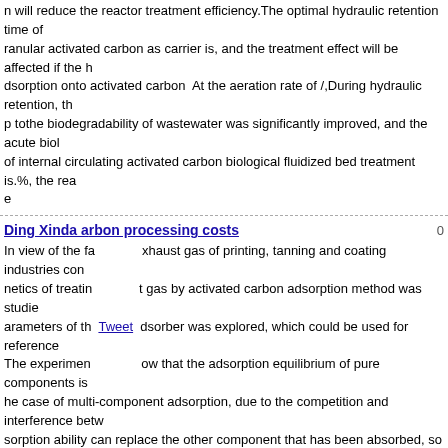n will reduce the reactor treatment efficiency.The optimal hydraulic retention time of granular activated carbon as carrier is, and the treatment effect will be affected if the h dsorption onto activated carbon  At the aeration rate of /,During hydraulic retention, th p tothe biodegradability of wastewater was significantly improved, and the acute biol of internal circulating activated carbon biological fluidized bed treatment is.%, the rea e
Ding Xinda activated carbon processing costs
In view of the fa xhaust gas of printing, tanning and coating industries con netics of treatin t gas by activated carbon adsorption method was studie arameters of th dsorber was explored, which could be used for reference The experimen ow that the adsorption equilibrium of pure components is he case of multi-component adsorption, due to the competition and interference betw sorption ability can replace the other component that has been absorbed, so that the hanges.wholesale activated carbon pellet  The penetration point of the components w ntly advanced, while the penetration time of the components with strong adsorption c IAST theory are used for theoretical prediction and analysis of multi-component adso results. The results show that although the prediction of total adsorption amount by E ntal results, the prediction of each component adsorption amount by E-L equation oft e average error is usually more than 20%.
Ding Xinda activated carbon refining processing
In general, all compounds with conjugate double bond structure, activated carbon is vated carbon on its adsorption capacity is greater. This is mainly because activated c bination of covalent bonds (with large bond structure properties of aromatic ring), wh m/  Some pigments, most of which have a strategic structure, are easy to be adsorb activated carbon decolorization is added to remove impurities. This is the reason. Fo compounds, the introduction of amine, hydroxyl, carboxyl and other polar groups will